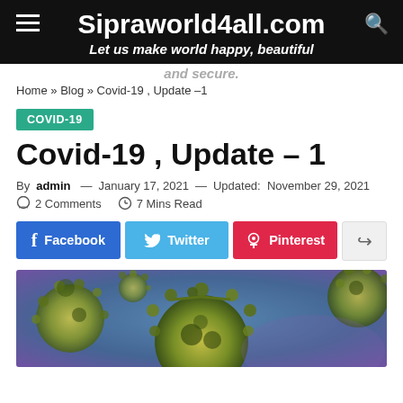Sipraworld4all.com — Let us make world happy, beautiful and secure.
Home » Blog » Covid-19 , Update –1
COVID-19
Covid-19 , Update – 1
By admin — January 17, 2021 — Updated: November 29, 2021
2 Comments  7 Mins Read
Facebook  Twitter  Pinterest
[Figure (photo): Close-up microscope image of coronavirus (COVID-19) particles, showing yellow-green spiky spherical virus structures against a blue-purple background]